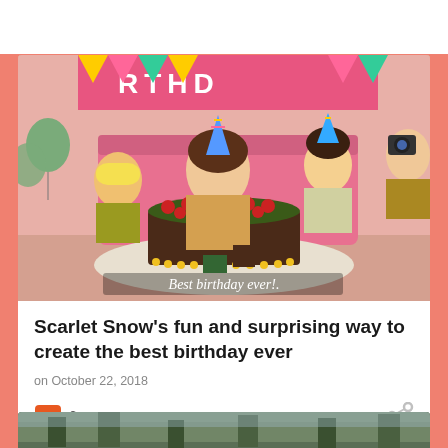[Figure (photo): Animated/mixed children at a birthday party with a chocolate cake with a number 3 candle. Text overlay says 'Best birthday ever!.' in white italic font.]
Scarlet Snow's fun and surprising way to create the best birthday ever
on October 22, 2018
[Figure (photo): Partial photo at bottom showing trees/outdoor scene, cropped.]